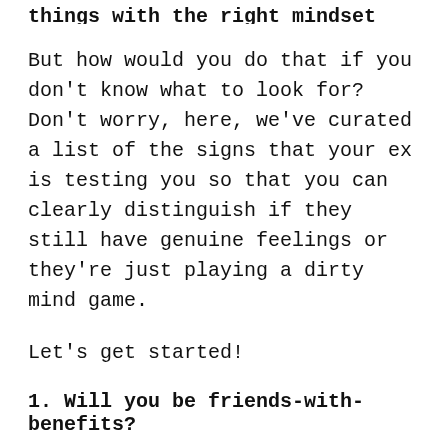…things with the right mindset and care.
But how would you do that if you don't know what to look for? Don't worry, here, we've curated a list of the signs that your ex is testing you so that you can clearly distinguish if they still have genuine feelings or they're just playing a dirty mind game.
Let's get started!
1. Will you be friends-with-benefits?
This reveals the indecisive nature of your ex. They want to be with you but only as friends